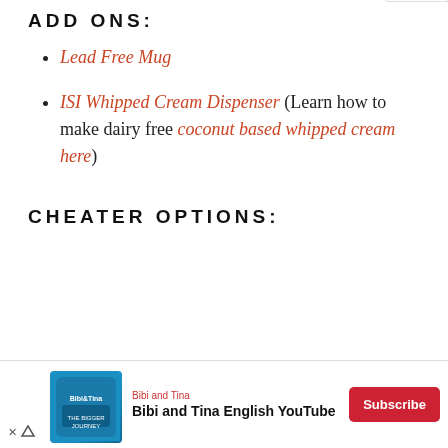ADD ONS:
Lead Free Mug
ISI Whipped Cream Dispenser (Learn how to make dairy free coconut based whipped cream here)
CHEATER OPTIONS:
[Figure (other): Advertisement banner: Bibi and Tina English YouTube channel with Subscribe button]
[Figure (other): reCAPTCHA badge (Privacy and Terms)]